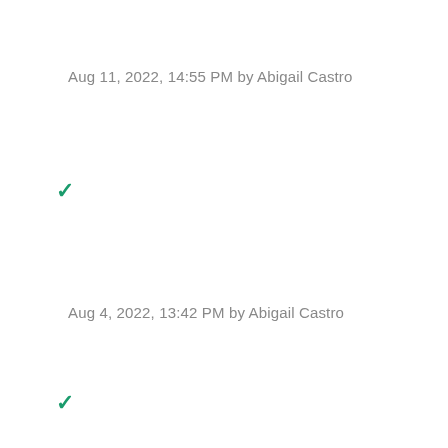Aug 11, 2022, 14:55 PM by Abigail Castro
✓
Aug 4, 2022, 13:42 PM by Abigail Castro
✓